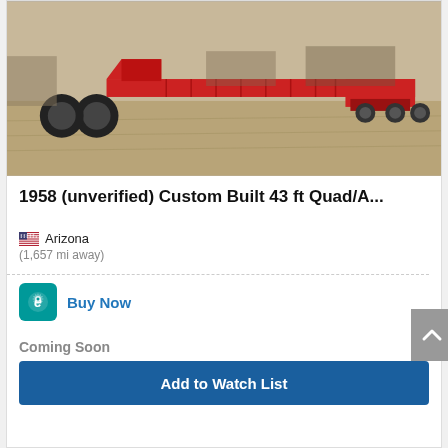[Figure (photo): Red lowboy trailer parked in a dirt yard with other heavy equipment visible in the background. The trailer is a large, flat, red custom-built 43 ft Quad/A configuration.]
1958 (unverified) Custom Built 43 ft Quad/A...
Arizona
(1,657 mi away)
Buy Now
Coming Soon
Add to Watch List